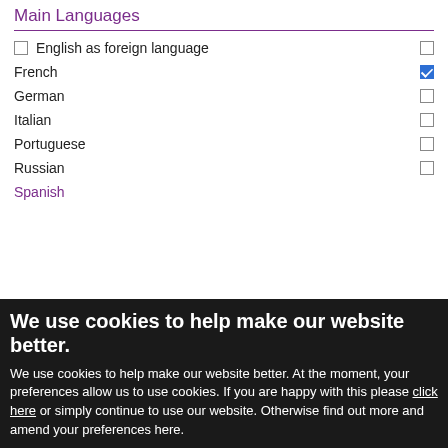Main Languages
English as foreign language
French
German
Italian
Portuguese
Russian
Spanish
We use cookies to help make our website better.
We use cookies to help make our website better. At the moment, your preferences allow us to use cookies. If you are happy with this please click here or simply continue to use our website. Otherwise find out more and amend your preferences here.